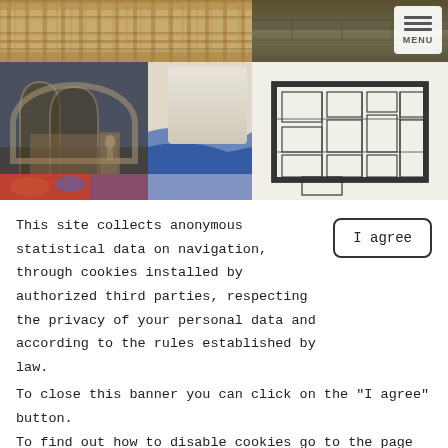[Figure (photo): Collage of architectural and art photos: arcaded corridor, fortress wall, gothic arches interior, decorative relief sculpting, fresco painting, architectural floor plan. Also shows a MENU button in the top right corner.]
This site collects anonymous statistical data on navigation, through cookies installed by authorized third parties, respecting the privacy of your personal data and according to the rules established by law.
To close this banner you can click on the "I agree" button.
To find out how to disable cookies go to the page Cookie Policy